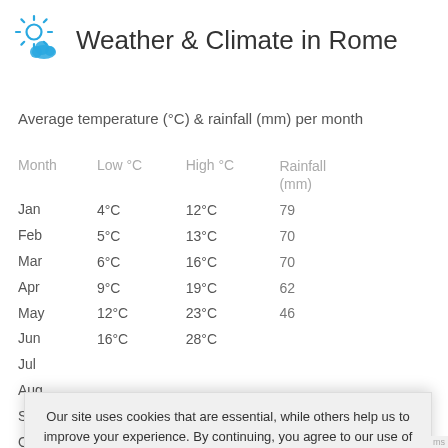[Figure (illustration): Weather and cloud sun icon in blue]
Weather & Climate in Rome
Average temperature (°C) & rainfall (mm) per month
| Month | Low °C | High °C | Rainfall (mm) |
| --- | --- | --- | --- |
| Jan | 4°C | 12°C | 79 |
| Feb | 5°C | 13°C | 70 |
| Mar | 6°C | 16°C | 70 |
| Apr | 9°C | 19°C | 62 |
| May | 12°C | 23°C | 46 |
| Jun | 16°C | 28°C |  |
| Jul |  |  |  |
| Aug |  |  |  |
| Sep |  |  |  |
| Oct |  |  |  |
| Nov |  |  |  |
| Dec |  |  |  |
Our site uses cookies that are essential, while others help us to improve your experience. By continuing, you agree to our use of cookies.
Read our Cookie and Privacy Policy
Dismiss
Got it!